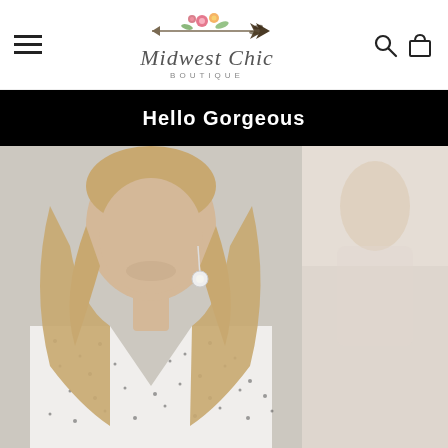[Figure (logo): Midwest Chic Boutique logo with floral and arrow design]
Hello Gorgeous
[Figure (photo): Woman with blonde wavy hair wearing a white spotted V-neck top with dangling earrings]
[Figure (photo): Partial side photo of woman in light background]